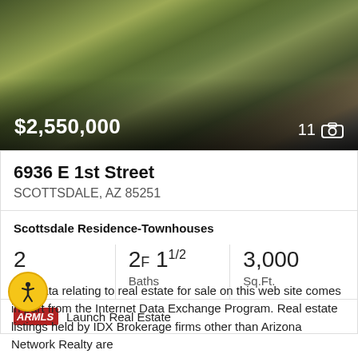[Figure (photo): Exterior/aerial rendering of townhouse property with trees and landscaping]
$2,550,000
11 photos
6936 E 1st Street
SCOTTSDALE, AZ 85251
Scottsdale Residence-Townhouses
2 Beds
2F 1 1/2 Baths
3,000 Sq.Ft.
Launch Real Estate
The data relating to real estate for sale on this web site comes in part from the Internet Data Exchange Program. Real estate listings held by IDX Brokerage firms other than Arizona Network Realty are